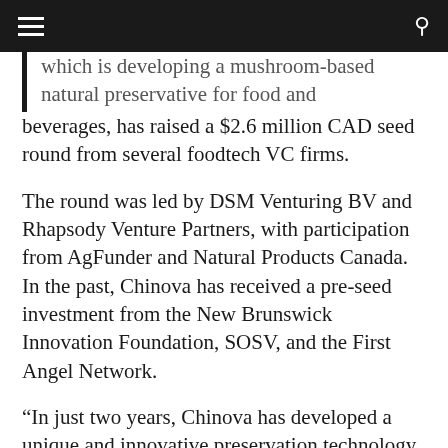≡  [menu]   [search]
which is developing a mushroom-based natural preservative for food and beverages, has raised a $2.6 million CAD seed round from several foodtech VC firms.
The round was led by DSM Venturing BV and Rhapsody Venture Partners, with participation from AgFunder and Natural Products Canada. In the past, Chinova has received a pre-seed investment from the New Brunswick Innovation Foundation, SOSV, and the First Angel Network.
“In just two years, Chinova has developed a unique and innovative preservation technology using mushroom-based chitosan that can be customized to fit the needs of food and b…